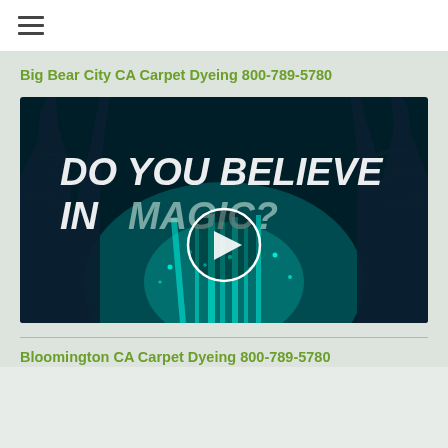≡ (hamburger menu)
Big Bear City CA Carpet Dyeing 800-789-5780
[Figure (screenshot): Video thumbnail with teal/dark forest background showing trees and glowing light beams, with bold white text reading 'DO YOU BELIEVE IN MAGIC?' and a circular play button overlay in the center]
Bloomington CA Carpet Dyeing 800-789-5780